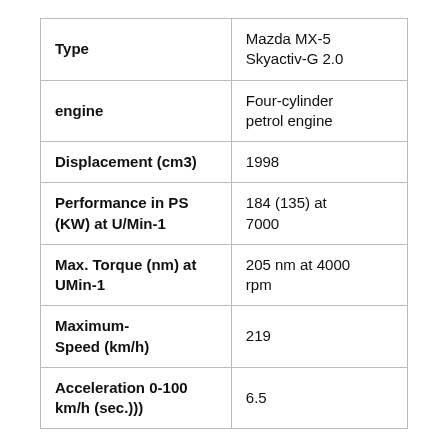| Type | Mazda MX-5 Skyactiv-G 2.0 |
| --- | --- |
| engine | Four-cylinder petrol engine |
| Displacement (cm3) | 1998 |
| Performance in PS (KW) at U/Min-1 | 184 (135) at 7000 |
| Max. Torque (nm) at UMin-1 | 205 nm at 4000 rpm |
| Maximum-Speed (km/h) | 219 |
| Acceleration 0-100 km/h (sec.))) | 6.5 |